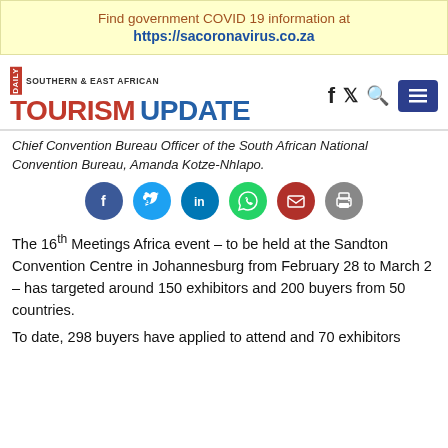Find government COVID 19 information at https://sacoronavirus.co.za
[Figure (logo): Daily Southern & East African Tourism Update masthead logo with social/nav icons]
Chief Convention Bureau Officer of the South African National Convention Bureau, Amanda Kotze-Nhlapo.
[Figure (infographic): Row of social sharing icons: Facebook, Twitter, LinkedIn, WhatsApp, Email, Print]
The 16th Meetings Africa event – to be held at the Sandton Convention Centre in Johannesburg from February 28 to March 2 – has targeted around 150 exhibitors and 200 buyers from 50 countries.
To date, 298 buyers have applied to attend and 70 exhibitors